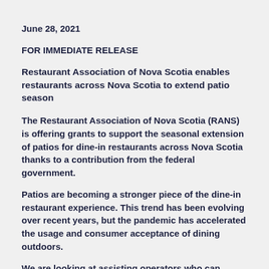June 28, 2021
FOR IMMEDIATE RELEASE
Restaurant Association of Nova Scotia enables restaurants across Nova Scotia to extend patio season
The Restaurant Association of Nova Scotia (RANS) is offering grants to support the seasonal extension of patios for dine-in restaurants across Nova Scotia thanks to a contribution from the federal government.
Patios are becoming a stronger piece of the dine-in restaurant experience. This trend has been evolving over recent years, but the pandemic has accelerated the usage and consumer acceptance of dining outdoors.
We are looking at assisting operators who can extend their season beyond their current operation to have patios open longer (in the fall and an earlier opening in spring). The outdoor experience is here to stay, and we want to encourage dine-in restaurants to adapt and join this trend. Due to the